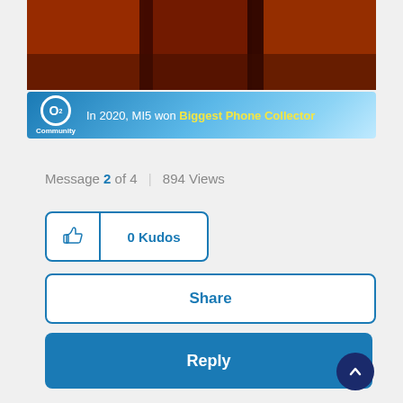[Figure (photo): Top portion of dark orange/brown image, partially visible at top of page]
[Figure (screenshot): O2 Community banner: 'In 2020, MI5 won Biggest Phone Collector' on blue gradient background with O2 logo]
Message 2 of 4  |  894 Views
[Figure (screenshot): 0 Kudos button with thumbs-up icon, teal border]
[Figure (screenshot): Share button, teal border]
[Figure (screenshot): Reply button, teal fill]
Chris1989
Level 1: Joiner